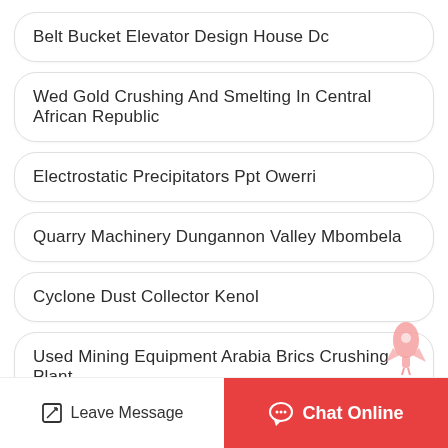Belt Bucket Elevator Design House Dc
Wed Gold Crushing And Smelting In Central African Republic
Electrostatic Precipitators Ppt Owerri
Quarry Machinery Dungannon Valley Mbombela
Cyclone Dust Collector Kenol
Used Mining Equipment Arabia Brics Crushing Plant
Binq Crushing Equipment Coltd
Leave Message  Chat Online